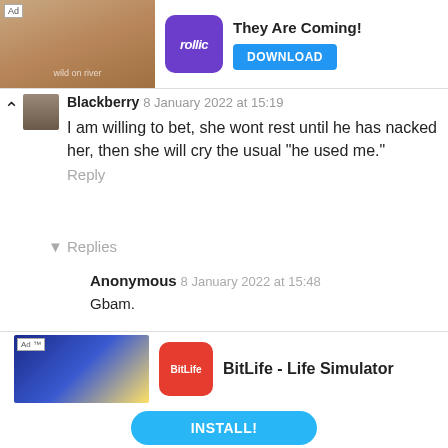[Figure (screenshot): Advertisement banner at top: 'They Are Coming!' with Rollic app icon and DOWNLOAD button]
Blackberry 8 January 2022 at 15:19
I am willing to bet, she wont rest until he has nacked her, then she will cry the usual "he used me."
Reply
▾ Replies
Anonymous 8 January 2022 at 15:48
Gbam.
Stella Maris Baby 8 January 2022 at 16:22
[Figure (screenshot): Advertisement banner at bottom: BitLife - Life Simulator app with INSTALL! button]